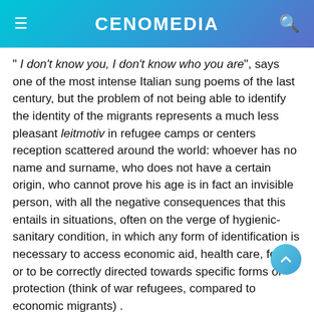CENOMEDIA
" I don't know you, I don't know who you are", says one of the most intense Italian sung poems of the last century, but the problem of not being able to identify the identity of the migrants represents a much less pleasant leitmotiv in refugee camps or centers reception scattered around the world: whoever has no name and surname, who does not have a certain origin, who cannot prove his age is in fact an invisible person, with all the negative consequences that this entails in situations, often on the verge of hygienic-sanitary condition, in which any form of identification is necessary to access economic aid, health care, food, or to be correctly directed towards specific forms of protection (think of war refugees, compared to economic migrants) .
In this regard, the WFP - World Food Program, with the support of the United Nations, launched the project Building